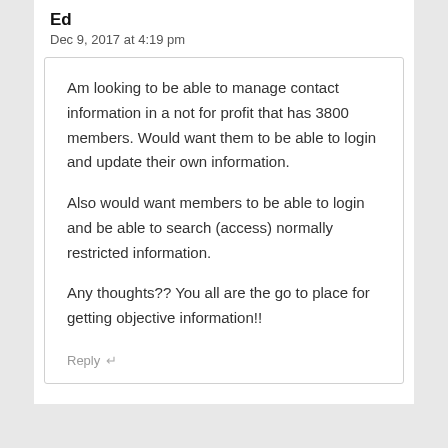Ed
Dec 9, 2017 at 4:19 pm
Am looking to be able to manage contact information in a not for profit that has 3800 members. Would want them to be able to login and update their own information.
Also would want members to be able to login and be able to search (access) normally restricted information.
Any thoughts?? You all are the go to place for getting objective information!!
Reply ↵